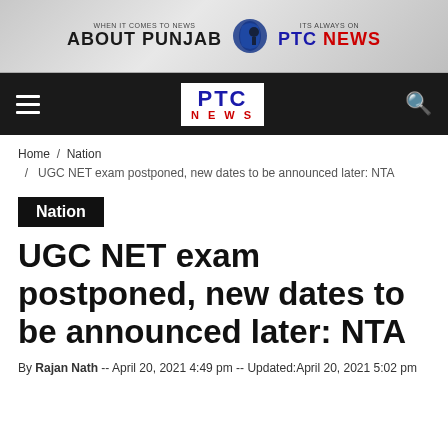[Figure (logo): PTC News banner advertisement: 'WHEN IT COMES TO NEWS ABOUT PUNJAB' on left, PTC News logo in center, 'ITS ALWAYS ON PTC NEWS' on right, gray background]
[Figure (logo): PTC News navigation bar with hamburger menu on left, PTC NEWS logo in center (white box with blue PTC and red NEWS text), and search icon on right, black background]
Home / Nation / UGC NET exam postponed, new dates to be announced later: NTA
Nation
UGC NET exam postponed, new dates to be announced later: NTA
By Rajan Nath -- April 20, 2021 4:49 pm -- Updated:April 20, 2021 5:02 pm